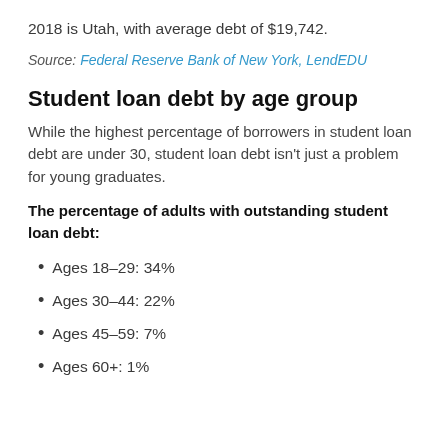2018 is Utah, with average debt of $19,742.
Source: Federal Reserve Bank of New York, LendEDU
Student loan debt by age group
While the highest percentage of borrowers in student loan debt are under 30, student loan debt isn't just a problem for young graduates.
The percentage of adults with outstanding student loan debt:
Ages 18–29: 34%
Ages 30–44: 22%
Ages 45–59: 7%
Ages 60+: 1%